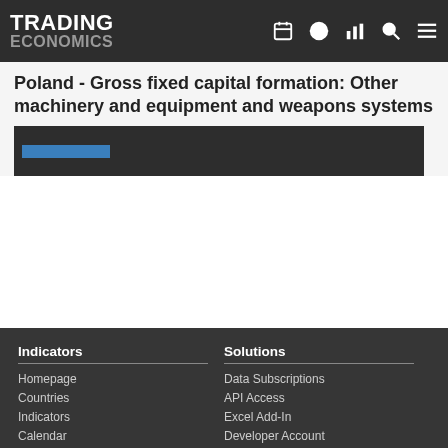TRADING ECONOMICS
Poland - Gross fixed capital formation: Other machinery and equipment and weapons systems
[Figure (screenshot): Dark chart placeholder bar with blue indicator element, content loading or partially visible]
Indicators | Homepage | Countries | Indicators | Calendar | Solutions | Data Subscriptions | API Access | Excel Add-In | Developer Account